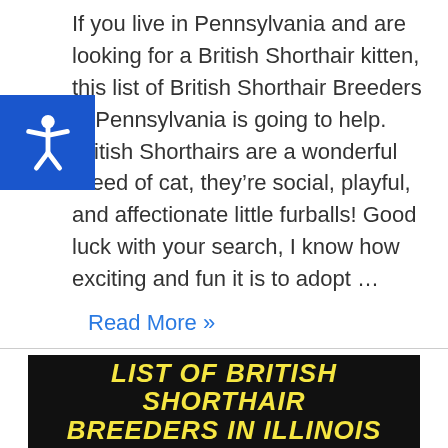If you live in Pennsylvania and are looking for a British Shorthair kitten, this list of British Shorthair Breeders in Pennsylvania is going to help. British Shorthairs are a wonderful breed of cat, they're social, playful, and affectionate little furballs! Good luck with your search, I know how exciting and fun it is to adopt …
Read More »
[Figure (illustration): Dark banner image with bold yellow italic text reading: LIST OF BRITISH SHORTHAIR BREEDERS IN ILLINOIS]